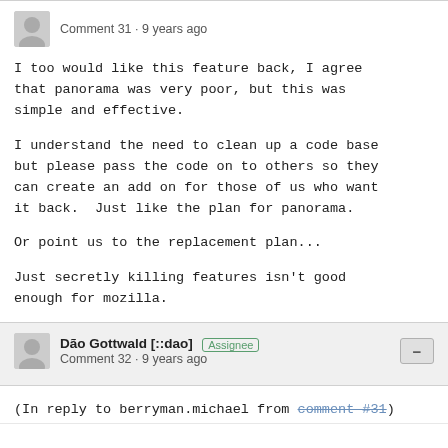Comment 31 · 9 years ago
I too would like this feature back, I agree that panorama was very poor, but this was simple and effective.

I understand the need to clean up a code base but please pass the code on to others so they can create an add on for those of us who want it back.  Just like the plan for panorama.

Or point us to the replacement plan...

Just secretly killing features isn't good enough for mozilla.
Dão Gottwald [::dao] Assignee Comment 32 · 9 years ago
(In reply to berryman.michael from comment #31)